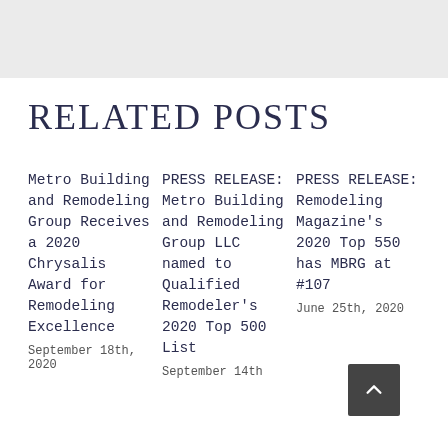RELATED POSTS
Metro Building and Remodeling Group Receives a 2020 Chrysalis Award for Remodeling Excellence
September 18th, 2020
PRESS RELEASE: Metro Building and Remodeling Group LLC named to Qualified Remodeler's 2020 Top 500 List
September 14th
PRESS RELEASE: Remodeling Magazine's 2020 Top 550 has MBRG at #107
June 25th, 2020